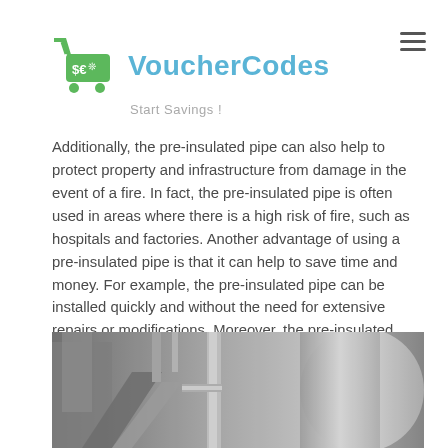[Figure (logo): VoucherCodes logo with green shopping cart icon and tagline 'Start Savings!']
Additionally, the pre-insulated pipe can also help to protect property and infrastructure from damage in the event of a fire. In fact, the pre-insulated pipe is often used in areas where there is a high risk of fire, such as hospitals and factories. Another advantage of using a pre-insulated pipe is that it can help to save time and money. For example, the pre-insulated pipe can be installed quickly and without the need for extensive repairs or modifications. Moreover, the pre-insulated pipe can also reduce the amount of fuel that is used in heating and cooling systems.
[Figure (photo): Black and white photograph of industrial piping and stainless steel tanks/vessels in a factory or industrial facility.]